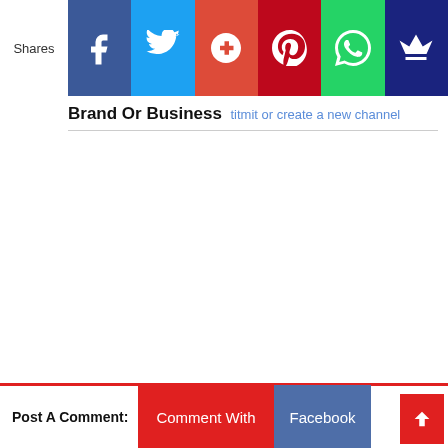[Figure (infographic): Social share bar with Shares label and six colored buttons: Facebook (dark blue, f icon), Twitter (light blue, bird icon), Google+ (red-orange, G+ icon), Pinterest (dark red, P icon), WhatsApp (green, speech bubble icon), Crown/other (dark navy, crown icon)]
Brand Or Business
Post A Comment:
Comment With
Facebook